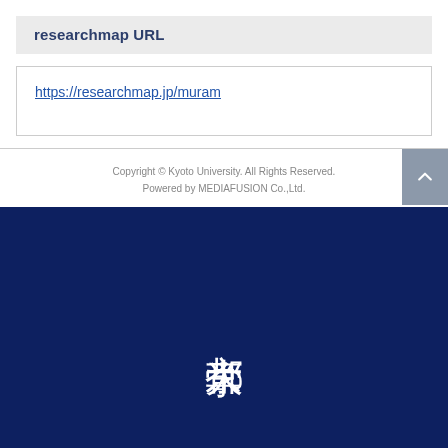researchmap URL
https://researchmap.jp/muram
Copyright © Kyoto University. All Rights Reserved.
Powered by MEDIAFUSION Co.,Ltd.
[Figure (logo): Kyoto University logo with Japanese text 京都大学 in white on dark navy blue background, written vertically]